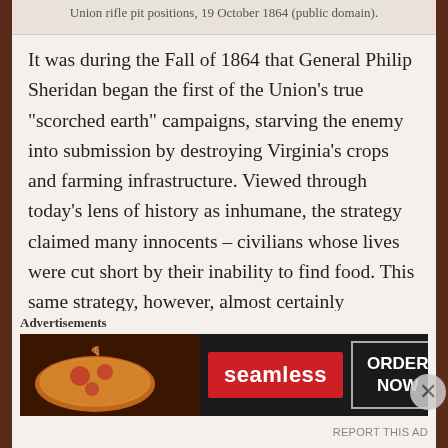Union rifle pit positions, 19 October 1864 (public domain).
It was during the Fall of 1864 that General Philip Sheridan began the first of the Union’s true “scorched earth” campaigns, starving the enemy into submission by destroying Virginia’s crops and farming infrastructure. Viewed through today’s lens of history as inhumane, the strategy claimed many innocents – civilians whose lives were cut short by their inability to find food. This same strategy, however, almost certainly contributed to the further turning of the war’s tide in the Union’s favor during the Battle of Cedar Creek on 19 October 1864. Successful throughout most of their
Advertisements
[Figure (photo): Seamless food delivery advertisement banner featuring pizza image on left, red Seamless logo button in center, and ORDER NOW button on right against dark background.]